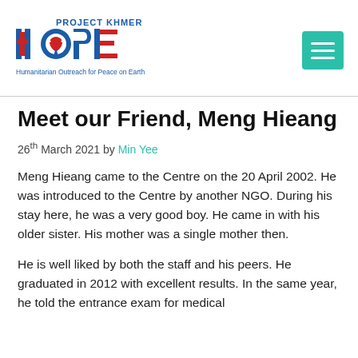[Figure (logo): Project Khmer Hope logo — large blue and red HOPE letters with a heart/dove icon, tagline 'Humanitarian Outreach for Peace on Earth']
Meet our Friend, Meng Hieang
26th March 2021 by Min Yee
Meng Hieang came to the Centre on the 20 April 2002. He was introduced to the Centre by another NGO. During his stay here, he was a very good boy. He came in with his older sister. His mother was a single mother then.
He is well liked by both the staff and his peers. He graduated in 2012 with excellent results. In the same year, he told the entrance exam for medical